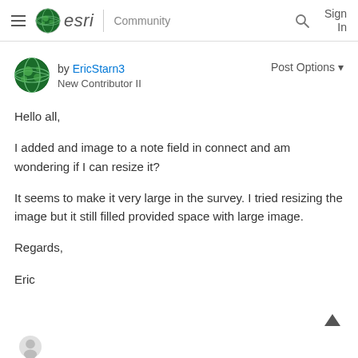esri Community | Sign In
by EricStarn3
New Contributor II
Post Options ▼
Hello all,
I added and image to a note field in connect and am wondering if I can resize it?
It seems to make it very large in the survey. I tried resizing the image but it still filled provided space with large image.
Regards,
Eric